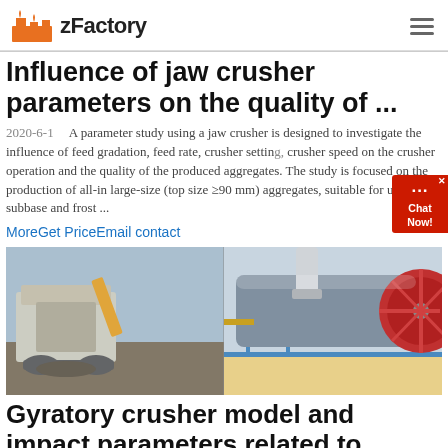zFactory
Influence of jaw crusher parameters on the quality of ...
2020-6-1   A parameter study using a jaw crusher is designed to investigate the influence of feed gradation, feed rate, crusher setting, crusher speed on the crusher operation and the quality of the produced aggregates. The study is focused on the production of all-in large-size (top size ≥90 mm) aggregates, suitable for use in subbase and frost ...
MoreGet PriceEmail contact
[Figure (photo): Two industrial machines: left side shows a jaw crusher/mobile crushing plant outdoors; right side shows a large cylindrical grinding mill or rotary drum in an industrial facility.]
Gyratory crusher model and impact parameters related to ...